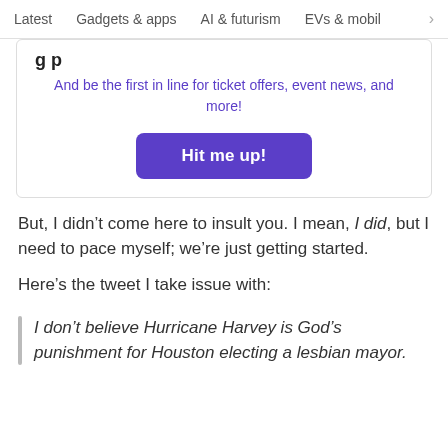Latest   Gadgets & apps   AI & futurism   EVs & mobil >
And be the first in line for ticket offers, event news, and more!
[Figure (other): Purple button labeled 'Hit me up!']
But, I didn’t come here to insult you. I mean, I did, but I need to pace myself; we’re just getting started.
Here’s the tweet I take issue with:
I don’t believe Hurricane Harvey is God’s punishment for Houston electing a lesbian mayor.